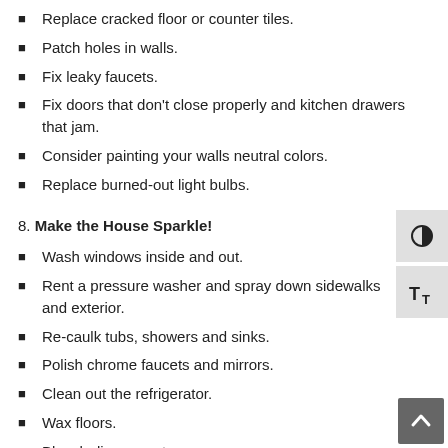Replace cracked floor or counter tiles.
Patch holes in walls.
Fix leaky faucets.
Fix doors that don't close properly and kitchen drawers that jam.
Consider painting your walls neutral colors.
Replace burned-out light bulbs.
8. Make the House Sparkle!
Wash windows inside and out.
Rent a pressure washer and spray down sidewalks and exterior.
Re-caulk tubs, showers and sinks.
Polish chrome faucets and mirrors.
Clean out the refrigerator.
Wax floors.
Bleach dingy grout.